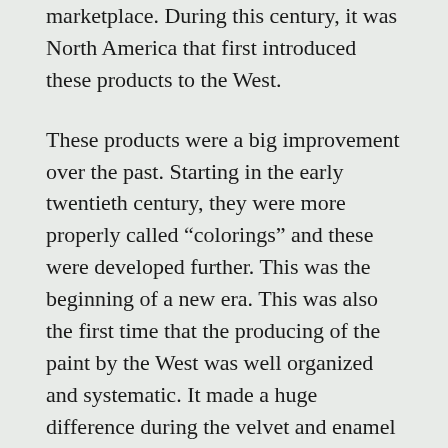marketplace. During this century, it was North America that first introduced these products to the West.
These products were a big improvement over the past. Starting in the early twentieth century, they were more properly called “colorings” and these were developed further. This was the beginning of a new era. This was also the first time that the producing of the paint by the West was well organized and systematic. It made a huge difference during the velvet and enamel industries.
Further on, by the second half of the twentieth century, the production of nail varnish reached its peak, including nail varnish and nail design. This was the era of the “new nail.” The North American points that were derived from the old European roots...